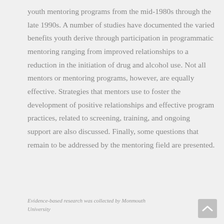youth mentoring programs from the mid-1980s through the late 1990s. A number of studies have documented the varied benefits youth derive through participation in programmatic mentoring ranging from improved relationships to a reduction in the initiation of drug and alcohol use. Not all mentors or mentoring programs, however, are equally effective. Strategies that mentors use to foster the development of positive relationships and effective program practices, related to screening, training, and ongoing support are also discussed. Finally, some questions that remain to be addressed by the mentoring field are presented.
Evidence-based research was collected by Monmouth University